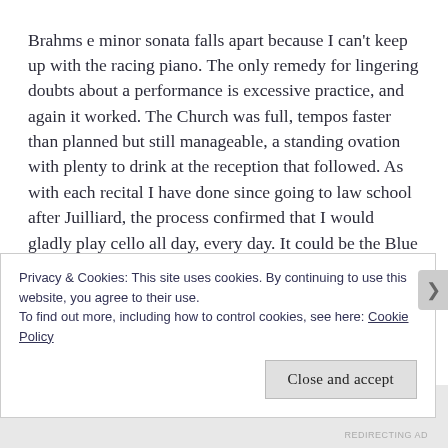Brahms e minor sonata falls apart because I can't keep up with the racing piano. The only remedy for lingering doubts about a performance is excessive practice, and again it worked. The Church was full, tempos faster than planned but still manageable, a standing ovation with plenty to drink at the reception that followed. As with each recital I have done since going to law school after Juilliard, the process confirmed that I would gladly play cello all day, every day. It could be the Blue Danube waltz or a Shostakovich concerto – I started the process early enough, as a child in 1975, that the X-Y axis of the fingerboard and the different challenges of bow control remain unending sources of fascination. If
Privacy & Cookies: This site uses cookies. By continuing to use this website, you agree to their use.
To find out more, including how to control cookies, see here: Cookie Policy
Close and accept
REDIRECTING AD